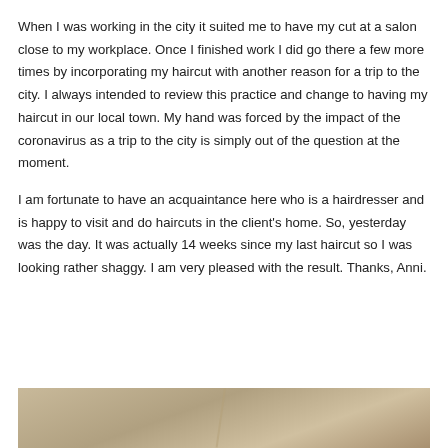When I was working in the city it suited me to have my cut at a salon close to my workplace.  Once I finished work I did go there a few more times by incorporating my haircut with another reason for a trip to the city.  I always intended to review this practice and change to having my haircut in our local town.  My hand was forced by the impact of the coronavirus as a trip to the city is simply out of the question at the moment.
I am fortunate to have an acquaintance here who is a hairdresser and is happy to visit and do haircuts in the client's home.  So, yesterday was the day.  It was actually 14 weeks since my last haircut so I was looking rather shaggy.  I am very pleased with the result.  Thanks, Anni.
[Figure (photo): Partial photo of a person visible at the bottom of the page, showing what appears to be a haircut result. The image is cropped and only the top portion is visible.]